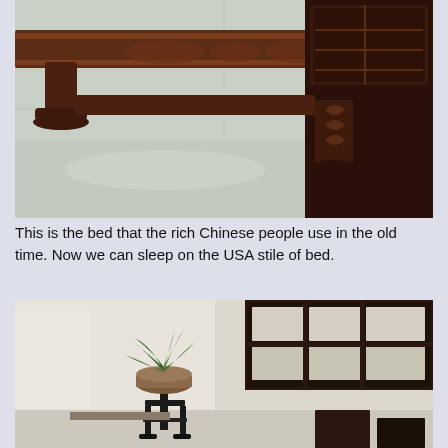[Figure (photo): Close-up photograph of the ornately carved dark wood legs and base of a traditional Chinese bed, sitting on a light stone/tile floor. Carved decorative details visible on the wood frame.]
This is the bed that the rich Chinese people use in the old time. Now we can sleep on the USA stile of bed.
[Figure (photo): Interior room photo showing a potted plant on a decorative black stand on the left, and a large dark wooden display cabinet or window frame with multiple rectangular glass panels on the right wall. Additional furniture visible in background.]